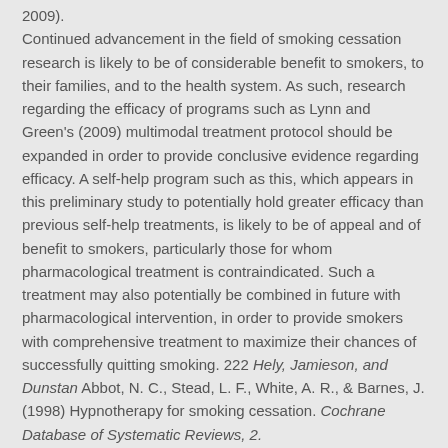2009). Continued advancement in the field of smoking cessation research is likely to be of considerable benefit to smokers, to their families, and to the health system. As such, research regarding the efficacy of programs such as Lynn and Green's (2009) multimodal treatment protocol should be expanded in order to provide conclusive evidence regarding efficacy. A self-help program such as this, which appears in this preliminary study to potentially hold greater efficacy than previous self-help treatments, is likely to be of appeal and of benefit to smokers, particularly those for whom pharmacological treatment is contraindicated. Such a treatment may also potentially be combined in future with pharmacological intervention, in order to provide smokers with comprehensive treatment to maximize their chances of successfully quitting smoking. 222 Hely, Jamieson, and Dunstan Abbot, N. C., Stead, L. F., White, A. R., & Barnes, J. (1998) Hypnotherapy for smoking cessation. Cochrane Database of Systematic Reviews, 2. Abbot, N. C., Stead, L. F., White, A. R., & Barnes, J.